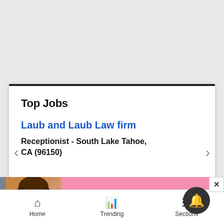Top Jobs
Laub and Laub Law firm
Receptionist - South Lake Tahoe, CA (96150)
[Figure (screenshot): Job listing card with navigation dots and arrow controls]
[Figure (infographic): Victoria's Secret advertisement banner: SHOP THE COLLECTION, SHOP NOW]
Home  Trending  Sections